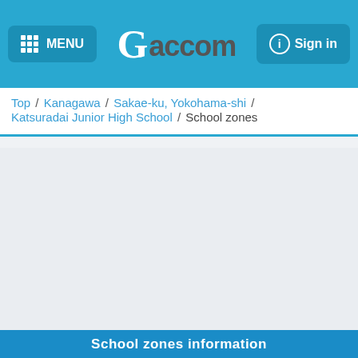MENU   Gaccom   Sign in
Top / Kanagawa / Sakae-ku, Yokohama-shi / Katsuradai Junior High School / School zones
[Figure (map): Map area showing school zones for Katsuradai Junior High School in Sakae-ku, Yokohama-shi, Kanagawa. The map appears as a light gray placeholder.]
School zones information